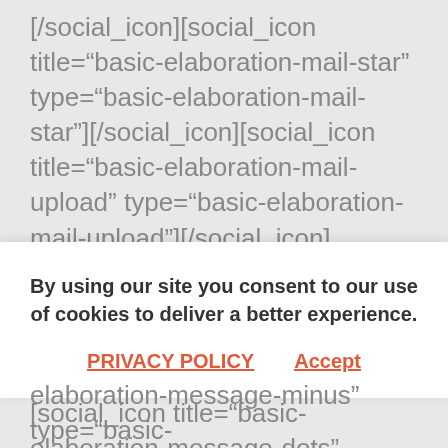[/social_icon][social_icon title="basic-elaboration-mail-star" type="basic-elaboration-mail-star"][/social_icon][social_icon title="basic-elaboration-mail-upload" type="basic-elaboration-mail-upload"][/social_icon][social_icon title="basic-elaboration-message-check" type="basic-elaboration-message-check"][/social_icon][social_icon title="basic-elaboration-message-dots" type="basic-elaboration-message-dots"][/social_icon][social_icon title="basic-elaboration-message-happy" type="basic-
By using our site you consent to our use of cookies to deliver a better experience.
PRIVACY POLICY
Accept
elaboration-message-minus" type="basic-